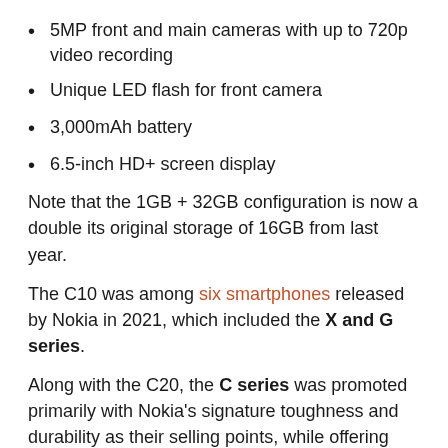5MP front and main cameras with up to 720p video recording
Unique LED flash for front camera
3,000mAh battery
6.5-inch HD+ screen display
Note that the 1GB + 32GB configuration is now a double its original storage of 16GB from last year.
The C10 was among six smartphones released by Nokia in 2021, which included the X and G series.
Along with the C20, the C series was promoted primarily with Nokia's signature toughness and durability as their selling points, while offering users a basic smartphone experience.
RELATED TOPICS   #NOKIA   #NOKIA C10